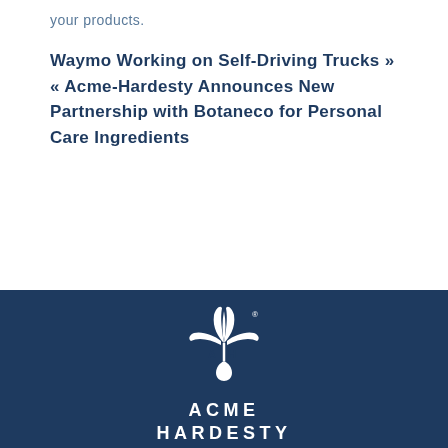your products.
Waymo Working on Self-Driving Trucks » « Acme-Hardesty Announces New Partnership with Botaneco for Personal Care Ingredients
[Figure (logo): Acme-Hardesty logo: white stylized AH plant/flame symbol with registered trademark, text ACME HARDESTY below, on dark navy blue background]